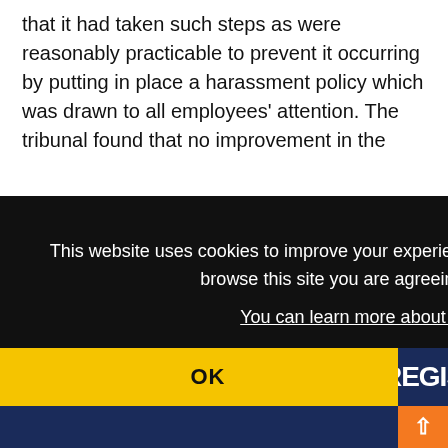that it had taken such steps as were reasonably practicable to prevent it occurring by putting in place a harassment policy which was drawn to all employees' attention. The tribunal found that no improvement in the
This website uses cookies to improve your experience and for ads personalisation. By continuing to browse this site you are agreeing to our use of these cookies. You can learn more about the cookies we use here.
OK
REGIS